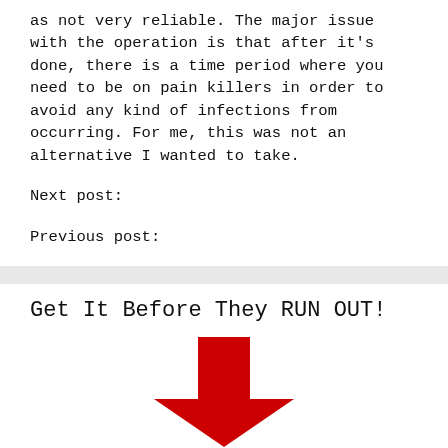as not very reliable. The major issue with the operation is that after it’s done, there is a time period where you need to be on pain killers in order to avoid any kind of infections from occurring. For me, this was not an alternative I wanted to take.
Next post:
Previous post:
Get It Before They RUN OUT!
[Figure (illustration): A large red downward-pointing arrow]